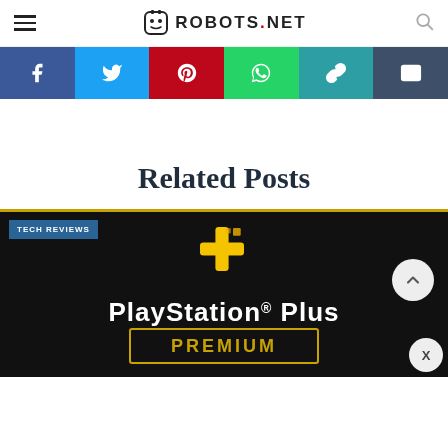ROBOTS.NET
[Figure (infographic): Social sharing bar with Facebook, Twitter, Pinterest, WhatsApp, copy link, and email buttons]
Related Posts
[Figure (screenshot): PlayStation Plus Premium banner with TECH REVIEWS badge, gold PS Plus logo, text 'PlayStation Plus PREMIUM', scroll-up button and close button overlaid]